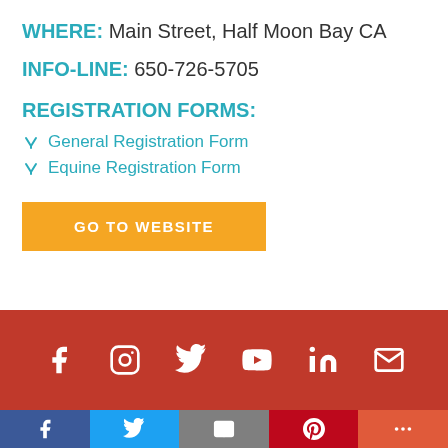WHERE: Main Street, Half Moon Bay CA
INFO-LINE: 650-726-5705
REGISTRATION FORMS:
General Registration Form
Equine Registration Form
GO TO WEBSITE
[Figure (infographic): Red footer bar with social media icons: Facebook, Instagram, Twitter, YouTube, LinkedIn, Email]
[Figure (infographic): Bottom share bar with Facebook, Twitter, Email, Pinterest, and More buttons]